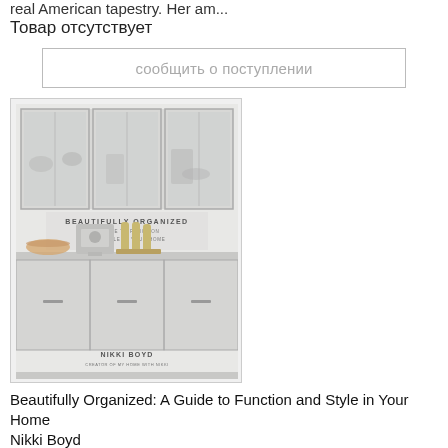real American tapestry. Her am...
Товар отсутствует
сообщить о поступлении
[Figure (illustration): Book cover of 'Beautifully Organized: A Guide to Function and Style in Your Home' by Nikki Boyd. Shows a white kitchen with glass-front cabinets, espresso machine, bottles, and kitchen items arranged neatly. Light, airy, grey-white tones.]
Beautifully Organized: A Guide to Function and Style in Your Home
Nikki Boyd
ID: 13722
Издательство: Random House
Nikki Boyd here shares her best advice for how to create an organised, beautiful and welcoming home. Nikki developed and honed her five essential steps to an organised home through her experience working as a professional organiser. In her book, Nikk...
Т...